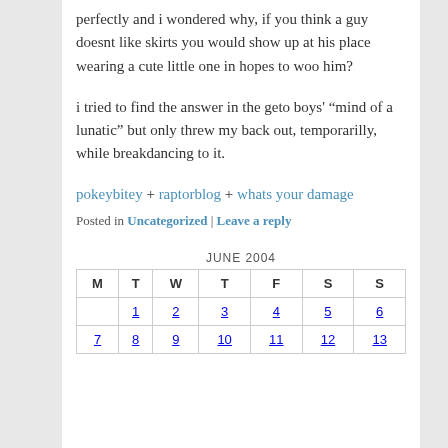perfectly and i wondered why, if you think a guy doesnt like skirts you would show up at his place wearing a cute little one in hopes to woo him?
i tried to find the answer in the geto boys' “mind of a lunatic” but only threw my back out, temporarilly, while breakdancing to it.
pokeybitey + raptorblog + whats your damage
Posted in Uncategorized | Leave a reply
JUNE 2004
| M | T | W | T | F | S | S |
| --- | --- | --- | --- | --- | --- | --- |
|  | 1 | 2 | 3 | 4 | 5 | 6 |
| 7 | 8 | 9 | 10 | 11 | 12 | 13 |